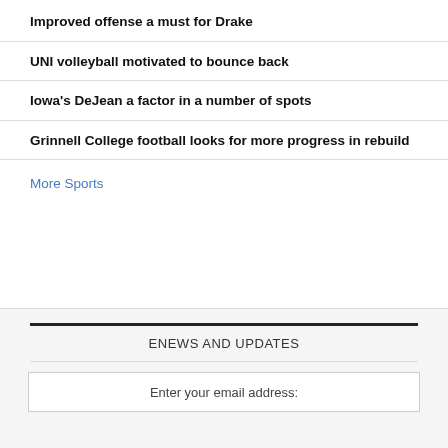Improved offense a must for Drake
UNI volleyball motivated to bounce back
Iowa's DeJean a factor in a number of spots
Grinnell College football looks for more progress in rebuild
More Sports
ENEWS AND UPDATES
Enter your email address: